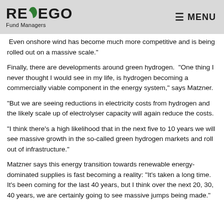REVEGO Fund Managers | MENU
Even onshore wind has become much more competitive and is being rolled out on a massive scale."
Finally, there are developments around green hydrogen. "One thing I never thought I would see in my life, is hydrogen becoming a commercially viable component in the energy system," says Matzner.
"But we are seeing reductions in electricity costs from hydrogen and the likely scale up of electrolyser capacity will again reduce the costs.
"I think there's a high likelihood that in the next five to 10 years we will see massive growth in the so-called green hydrogen markets and roll out of infrastructure."
Matzner says this energy transition towards renewable energy-dominated supplies is fast becoming a reality: "It's taken a long time. It's been coming for the last 40 years, but I think over the next 20, 30, 40 years, we are certainly going to see massive jumps being made."